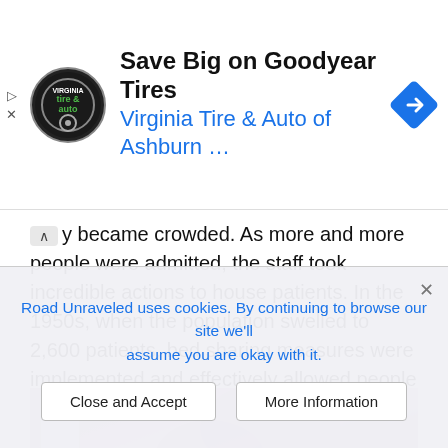[Figure (screenshot): Advertisement banner for Virginia Tire & Auto of Ashburn with logo circle and blue navigation icon, headline 'Save Big on Goodyear Tires' and subtext 'Virginia Tire & Auto of Ashburn ...']
y became crowded. As more and more people were admitted, the staff took incredible actions to house patients. In the 1950s, when the population swelled to 2,600 patients, bed sharing measures were implemented and effectively allowed people eight hours of rest before their beds were given to someone else.
[Figure (photo): Interior room photo showing pink/mauve walls with peeling paint or mold patterns and a window with light coming through, partially obscured]
Road Unraveled uses cookies. By continuing to browse our site we'll assume you are okay with it. Close and Accept   More Information